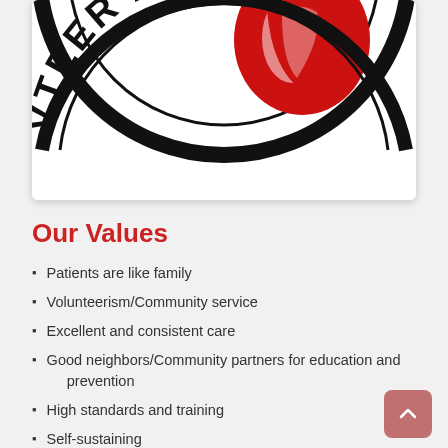[Figure (logo): Partial volunteer ambulance organization circular logo showing black text arc reading 'VTEER AMBU' with red and white shield/graphic in center]
Our Values
Patients are like family
Volunteerism/Community service
Excellent and consistent care
Good neighbors/Community partners for education and prevention
High standards and training
Self-sustaining
Our Vision